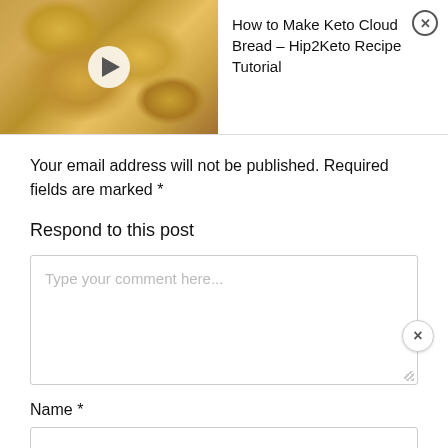[Figure (screenshot): Video thumbnail showing keto cloud bread (golden baked bread rolls on a tray) with a white play button overlay]
How to Make Keto Cloud Bread – Hip2Keto Recipe Tutorial
Your email address will not be published. Required fields are marked *
Respond to this post
Type your comment here...
Name *